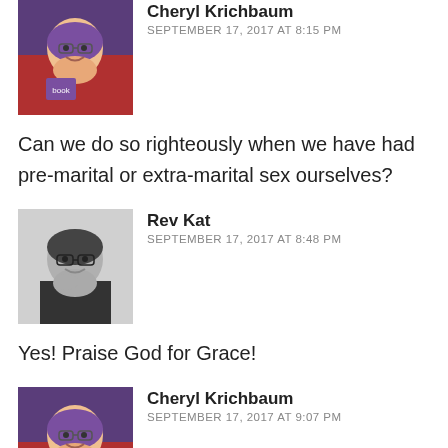Cheryl Krichbaum
SEPTEMBER 17, 2017 AT 8:15 PM
Can we do so righteously when we have had pre-marital or extra-marital sex ourselves?
Rev Kat
SEPTEMBER 17, 2017 AT 8:48 PM
Yes! Praise God for Grace!
Cheryl Krichbaum
SEPTEMBER 17, 2017 AT 9:07 PM
My point is that we judge when we have